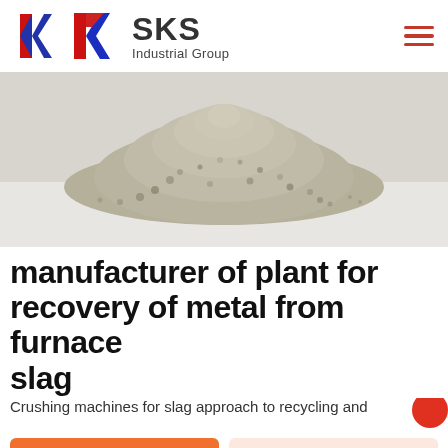[Figure (logo): SKS Industrial Group logo with stylized K in red and blue, company name SKS and subtitle Industrial Group]
[Figure (photo): A pile of granular slag material on a white surface, gray-green colored fine gravel/sand aggregate]
manufacturer of plant for recovery of metal from furnace slag
Crushing machines for slag approach to recycling and
Get a Quote
WhatsApp